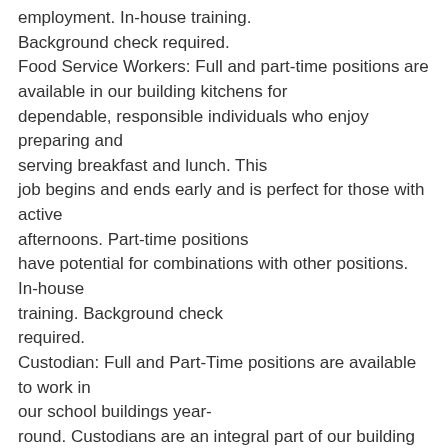employment. In-house training. Background check required. Food Service Workers: Full and part-time positions are available in our building kitchens for dependable, responsible individuals who enjoy preparing and serving breakfast and lunch. This job begins and ends early and is perfect for those with active afternoons. Part-time positions have potential for combinations with other positions. In-house training. Background check required. Custodian: Full and Part-Time positions are available to work in our school buildings year-round. Custodians are an integral part of our building maintenance team and work assigned and flexible shifts. In-house training. Background check required. Substitute positions in all areas are also open. These positions are on-call for teachers, paras, bus drivers, custodians, nurse, bus aide, and secretary.